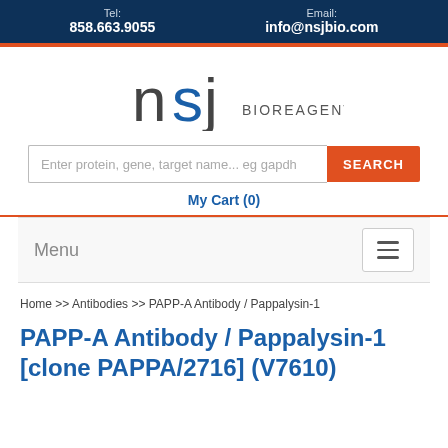Tel: 858.663.9055   Email: info@nsjbio.com
[Figure (logo): NSJ Bioreagents logo — stylized 'nsj' letters with BIOREAGENTS text]
Enter protein, gene, target name... eg gapdh
My Cart (0)
Menu
Home >> Antibodies >> PAPP-A Antibody / Pappalysin-1
PAPP-A Antibody / Pappalysin-1 [clone PAPPA/2716] (V7610)